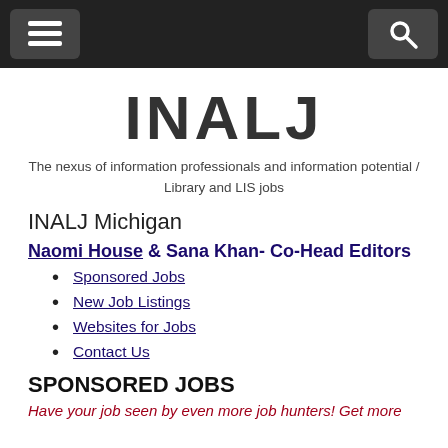Navigation bar with menu and search icons
INALJ
The nexus of information professionals and information potential / Library and LIS jobs
INALJ Michigan
Naomi House & Sana Khan- Co-Head Editors
Sponsored Jobs
New Job Listings
Websites for Jobs
Contact Us
SPONSORED JOBS
Have your job seen by even more job hunters! Get more